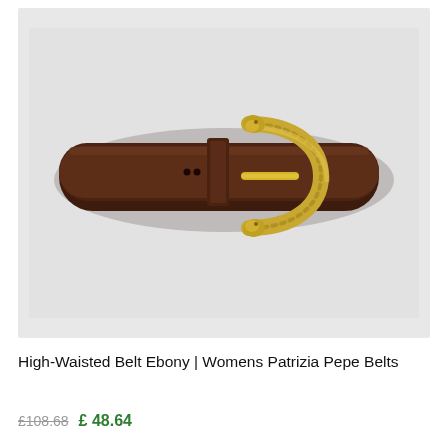[Figure (photo): A dark brown/ebony high-waisted leather belt with a decorative gold snake-shaped buckle, displayed flat on a light grey background.]
High-Waisted Belt Ebony | Womens Patrizia Pepe Belts
£108.68  £ 48.64